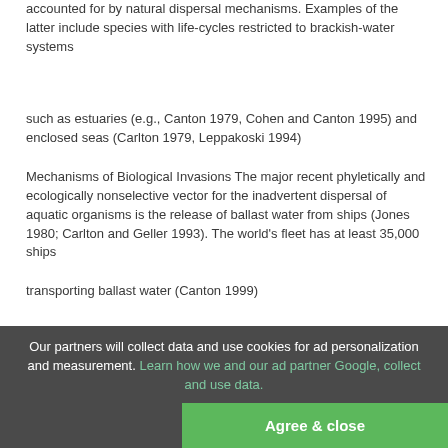accounted for by natural dispersal mechanisms. Examples of the latter include species with life-cycles restricted to brackish-water systems
such as estuaries (e.g., Canton 1979, Cohen and Canton 1995) and enclosed seas (Carlton 1979, Leppakoski 1994)
Mechanisms of Biological Invasions The major recent phyletically and ecologically nonselective vector for the inadvertent dispersal of aquatic organisms is the release of ballast water from ships (Jones 1980; Carlton and Geller 1993). The world's fleet has at least 35,000 ships
transporting ballast water (Canton 1999)
.
The sheer scale and
magnitude of this vector are such that it has been referred to
Our partners will collect data and use cookies for ad personalization and measurement. Learn how we and our ad partner Google, collect and use data.
Agree & close